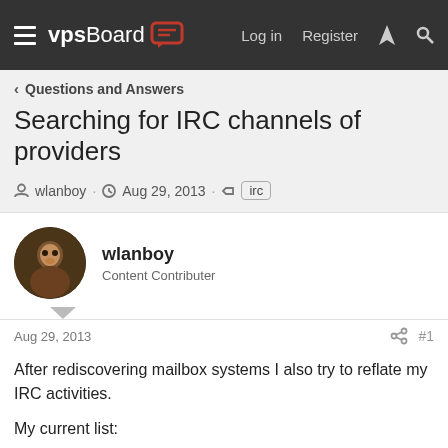vpsBoard — Log in | Register
Questions and Answers
Searching for IRC channels of providers
wlanboy · Aug 29, 2013 · irc
wlanboy
Content Contributer
Aug 29, 2013  #1
After rediscovering mailbox systems I also try to reflate my IRC activities.
My current list:
ObsidianIRC.net
#BlueVM
#HostUS